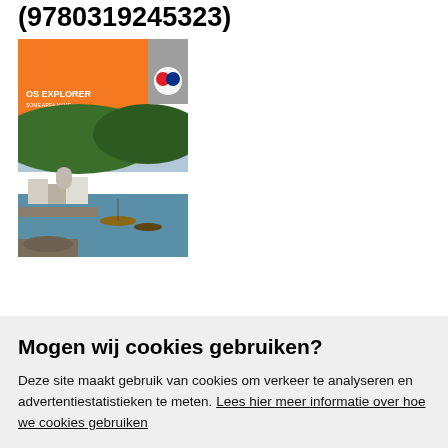(9780319245323)
[Figure (photo): OS Explorer map book cover with orange top section showing 'OS EXPLORER' text and 'NOW INCLUDES MOBILE DOWNLOAD' badge, and a photo of a coastal village with boats, buildings, and green hillside.]
Mogen wij cookies gebruiken?
Deze site maakt gebruik van cookies om verkeer te analyseren en advertentiestatistieken te meten. Lees hier meer informatie over hoe we cookies gebruiken